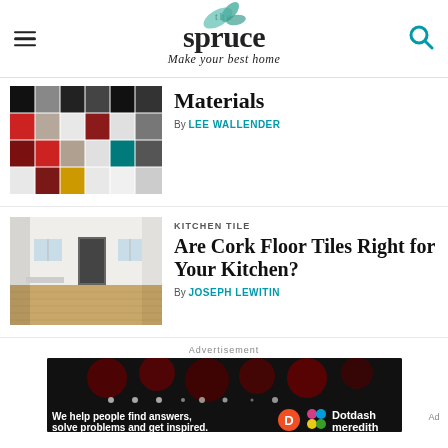the spruce — Make your best home
Materials
By LEE WALLENDER
KITCHEN TILE
Are Cork Floor Tiles Right for Your Kitchen?
By JOSEPH LEWITIN
Advertisement
We help people find answers, solve problems and get inspired. Dotdash meredith